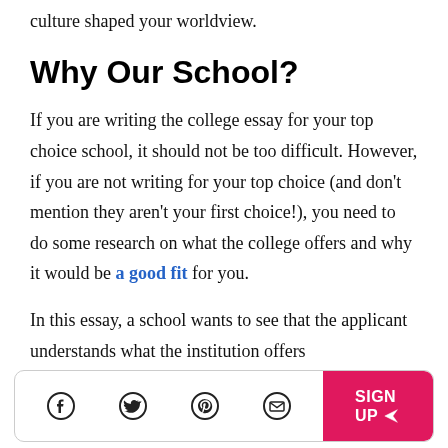culture shaped your worldview.
Why Our School?
If you are writing the college essay for your top choice school, it should not be too difficult. However, if you are not writing for your top choice (and don't mention they aren't your first choice!), you need to do some research on what the college offers and why it would be a good fit for you.
In this essay, a school wants to see that the applicant understands what the institution offers
[Figure (infographic): Bottom bar with social media icons (Facebook, Twitter, Pinterest, Email) and a pink SIGN UP button with paper airplane icon]